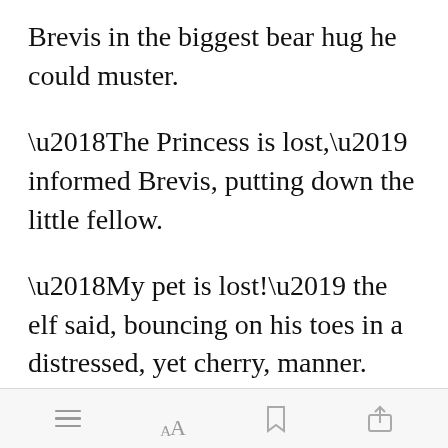Brevis in the biggest bear hug he could muster.
‘The Princess is lost,’ informed Brevis, putting down the little fellow.
‘My pet is lost!’ the elf said, bouncing on his toes in a distressed, yet cherry, manner.
[Figure (other): Green 'Open in app' button]
Toolbar with menu, font size, bookmark, and share icons